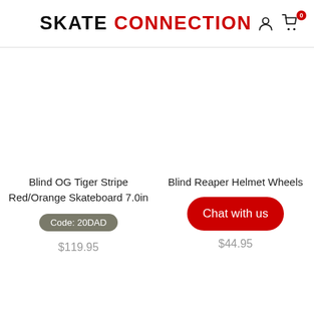SKATE CONNECTION
Blind OG Tiger Stripe Red/Orange Skateboard 7.0in
Code: 20DAD
$119.95
Blind Reaper Helmet Wheels
Chat with us
$44.95